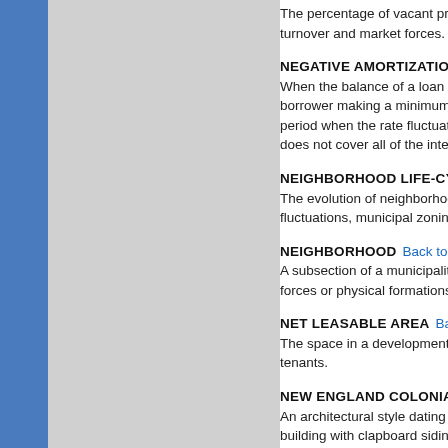The percentage of vacant properties in... turnover and market forces.
NEGATIVE AMORTIZATION  Back to top
When the balance of a loan increases i... borrower making a minimum payment d... period when the rate fluctuates to a hig... does not cover all of the interest.
NEIGHBORHOOD LIFE-CYCLE  Back to...
The evolution of neighborhood use and... fluctuations, municipal zoning changes...
NEIGHBORHOOD  Back to top
A subsection of a municipality that has... forces or physical formations.
NET LEASABLE AREA  Back to top
The space in a development, outside o... tenants.
NEW ENGLAND COLONIAL  Back to...
An architectural style dating from early... building with clapboard siding.
NO-COST LOAN  Back to top
Many lenders offer loans that you can o...